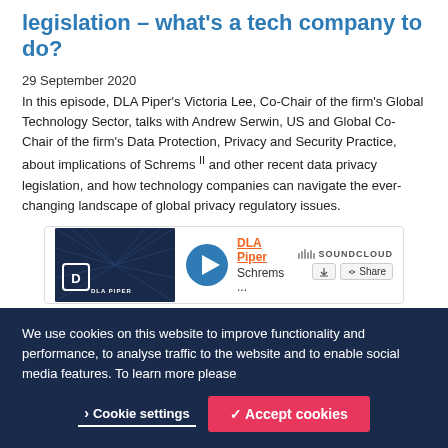legislation – what's a tech company to do?
29 September 2020
In this episode, DLA Piper's Victoria Lee, Co-Chair of the firm's Global Technology Sector, talks with Andrew Serwin, US and Global Co-Chair of the firm's Data Protection, Privacy and Security Practice, about implications of Schrems II and other recent data privacy legislation, and how technology companies can navigate the ever-changing landscape of global privacy regulatory issues.
[Figure (screenshot): SoundCloud embedded audio player showing DLA Piper podcast episode about Schrems II, with play button, track name, download and share buttons]
We use cookies on this website to improve functionality and performance, to analyse traffic to the website and to enable social media features. To learn more please
Cookie settings
Accept cookies